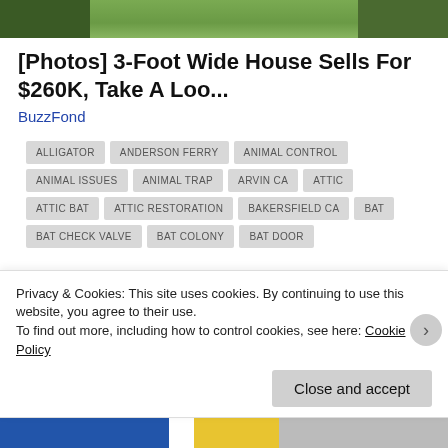[Figure (photo): Partial photo of a house exterior with green lawn and driveway visible at top of page]
[Photos] 3-Foot Wide House Sells For $260K, Take A Loo...
BuzzFond
ALLIGATOR
ANDERSON FERRY
ANIMAL CONTROL
ANIMAL ISSUES
ANIMAL TRAP
ARVIN CA
ATTIC
ATTIC BAT
ATTIC RESTORATION
BAKERSFIELD CA
BAT
BAT CHECK VALVE
BAT COLONY
BAT DOOR
Privacy & Cookies: This site uses cookies. By continuing to use this website, you agree to their use.
To find out more, including how to control cookies, see here: Cookie Policy
Close and accept